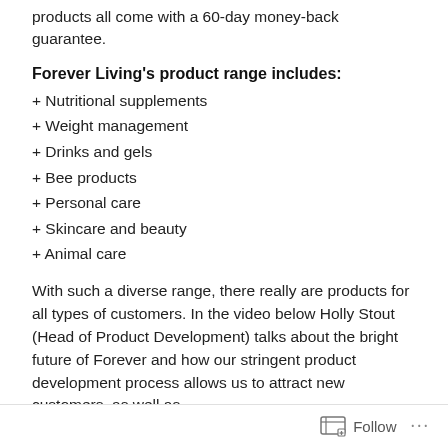products all come with a 60-day money-back guarantee.
Forever Living's product range includes:
+ Nutritional supplements
+ Weight management
+ Drinks and gels
+ Bee products
+ Personal care
+ Skincare and beauty
+ Animal care
With such a diverse range, there really are products for all types of customers. In the video below Holly Stout (Head of Product Development) talks about the bright future of Forever and how our stringent product development process allows us to attract new customers, as well as
Follow